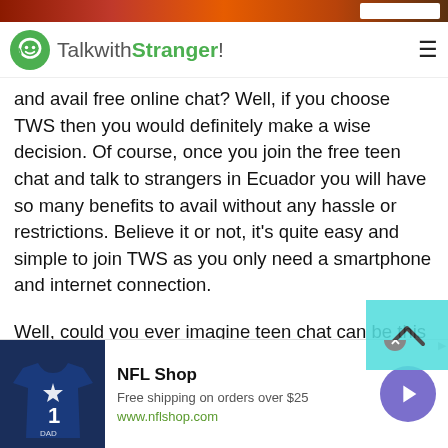[Figure (screenshot): Top banner with sports/fire imagery and search box]
[Figure (logo): TalkwithStranger! logo with green smiley icon and hamburger menu]
and avail free online chat? Well, if you choose TWS then you would definitely make a wise decision. Of course, once you join the free teen chat and talk to strangers in Ecuador you will have so many benefits to avail without any hassle or restrictions. Believe it or not, it's quite easy and simple to join TWS as you only need a smartphone and internet connection.
Well, could you ever imagine teen chat can be this much simple and easy? If not then still you have a choice to choose an online platform where you can freely talk to strangers online.
[Figure (screenshot): NFL Shop advertisement banner with Cowboys jersey image, free shipping offer, and play button]